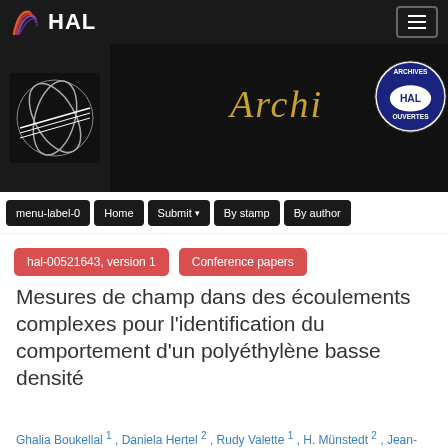[Figure (logo): HAL open archive logo with colorful wave icon and white HAL text on dark background, plus hamburger menu icon]
[Figure (screenshot): HAL Archives Ouvertes banner with stylized logo on left, gold italic Archi text in center, and circular Archives HAL Ouvertes badge on right, dark background]
menu-label-0  Home  Submit  By stamp  By author
hal-00521643, version 1
Conference papers
Mesures de champ dans des écoulements complexes pour l'identification du comportement d'un polyéthylène basse densité
Ghalia Boukellal 1 , Daniela Hertel 2 , Rudy Valette 1 , H. Münstedt 2 , Jean-